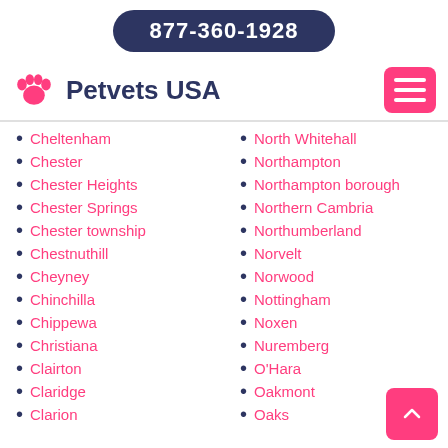877-360-1928
Petvets USA
Cheltenham
Chester
Chester Heights
Chester Springs
Chester township
Chestnuthill
Cheyney
Chinchilla
Chippewa
Christiana
Clairton
Claridge
Clarion
North Whitehall
Northampton
Northampton borough
Northern Cambria
Northumberland
Norvelt
Norwood
Nottingham
Noxen
Nuremberg
O'Hara
Oakmont
Oaks